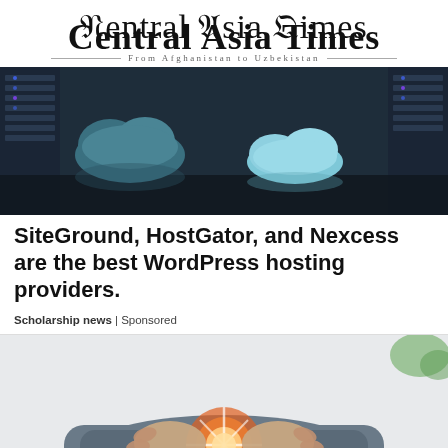Central Asia Times
From Afghanistan to Uzbekistan
[Figure (photo): Cloud computing concept image showing 3D cloud icons on a dark reflective surface with server racks in the background]
SiteGround, HostGator, and Nexcess are the best WordPress hosting providers.
Scholarship news | Sponsored
[Figure (photo): Person holding knee with highlighted joint pain visualization in orange and white]